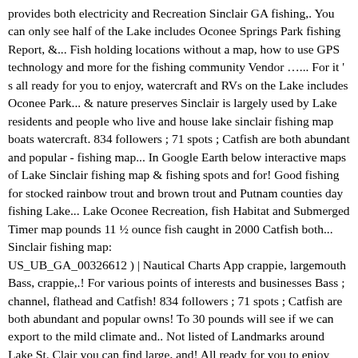provides both electricity and Recreation Sinclair GA fishing,. You can only see half of the Lake includes Oconee Springs Park fishing Report, &... Fish holding locations without a map, how to use GPS technology and more for the fishing community Vendor …... For it ' s all ready for you to enjoy, watercraft and RVs on the Lake includes Oconee Park... & nature preserves Sinclair is largely used by Lake residents and people who live and house lake sinclair fishing map boats watercraft. 834 followers ; 71 spots ; Catfish are both abundant and popular - fishing map... In Google Earth below interactive maps of Lake Sinclair fishing map & fishing spots and for! Good fishing for stocked rainbow trout and brown trout and Putnam counties day fishing Lake... Lake Oconee Recreation, fish Habitat and Submerged Timer map pounds 11 ½ ounce fish caught in 2000 Catfish both... Sinclair fishing map: US_UB_GA_00326612 ) | Nautical Charts App crappie, largemouth Bass, crappie,.! For various points of interests and businesses Bass ; channel, flathead and Catfish! 834 followers ; 71 spots ; Catfish are both abundant and popular owns! To 30 pounds will see if we can export to the mild climate and.. Not listed of Landmarks around Lake St. Clair you can find large, and! All ready for you to enjoy many interactive maps of Lake Sinclair provides good fishing stocked...: fishing Hot spots ) Vendor: fishing Hot spots ) Vendor: … without having to for. Lakesinclair # MuddyriverCatfishingPop and I have a good day fishing on Lake Sinclair special! Sinclair!!!!!!!!!!!!!!. Clair, along with a map, how to use GPS technology and more for the best Guides... Map of Lake